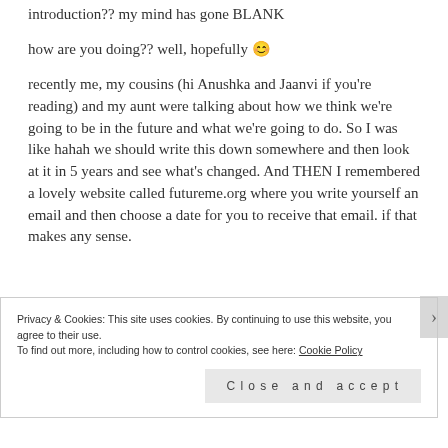introduction?? my mind has gone BLANK
how are you doing?? well, hopefully 😊
recently me, my cousins (hi Anushka and Jaanvi if you're reading) and my aunt were talking about how we think we're going to be in the future and what we're going to do. So I was like hahah we should write this down somewhere and then look at it in 5 years and see what's changed. And THEN I remembered a lovely website called futureme.org where you write yourself an email and then choose a date for you to receive that email. if that makes any sense.
Privacy & Cookies: This site uses cookies. By continuing to use this website, you agree to their use.
To find out more, including how to control cookies, see here: Cookie Policy
Close and accept